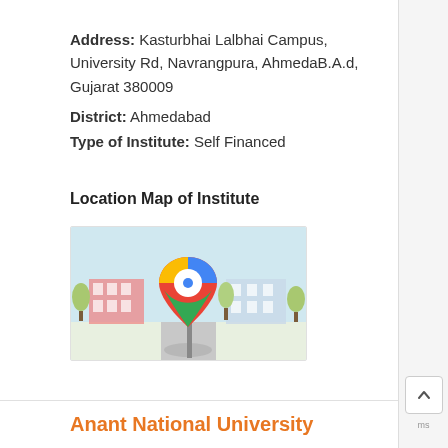Address: Kasturbhai Lalbhai Campus, University Rd, Navrangpura, AhmedaB.A.d, Gujarat 380009
District: Ahmedabad
Type of Institute: Self Financed
Location Map of Institute
[Figure (map): Google Maps location pin icon over a stylized campus map image showing buildings and trees]
Anant National University